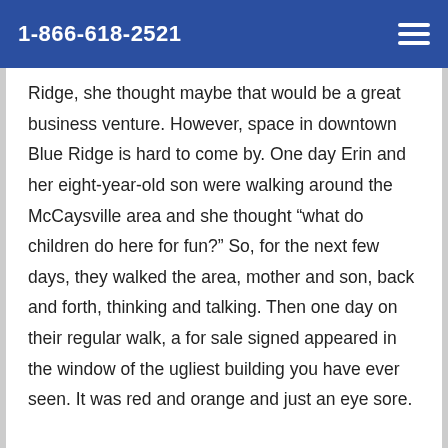1-866-618-2521
Ridge, she thought maybe that would be a great business venture. However, space in downtown Blue Ridge is hard to come by. One day Erin and her eight-year-old son were walking around the McCaysville area and she thought “what do children do here for fun?” So, for the next few days, they walked the area, mother and son, back and forth, thinking and talking. Then one day on their regular walk, a for sale signed appeared in the window of the ugliest building you have ever seen. It was red and orange and just an eye sore.